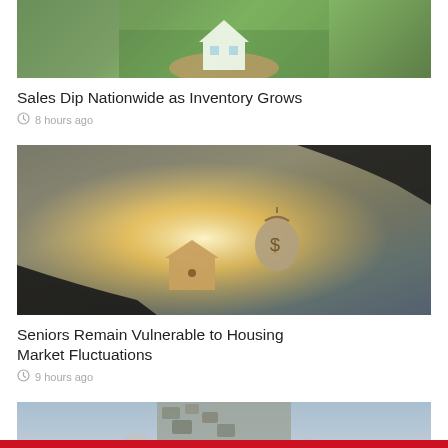[Figure (photo): Hands holding a white paper house model on a green grass background with small house models around]
Sales Dip Nationwide as Inventory Grows
8 hours ago
[Figure (photo): Two hands exchanging a small wooden house model and a money bag with a dollar sign, glowing light in background]
Seniors Remain Vulnerable to Housing Market Fluctuations
9 hours ago
[Figure (photo): Person in military camouflage uniform in front of a house and blue sky, partially visible]